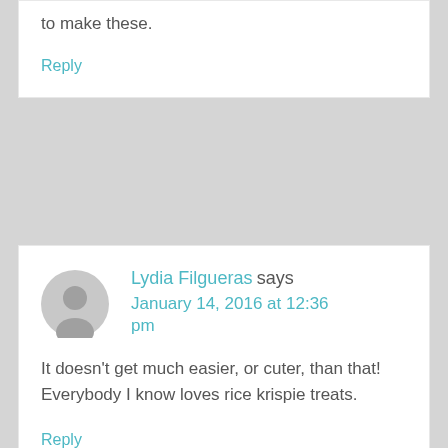to make these.
Reply
Lydia Filgueras says January 14, 2016 at 12:36 pm
It doesn't get much easier, or cuter, than that! Everybody I know loves rice krispie treats.
Reply